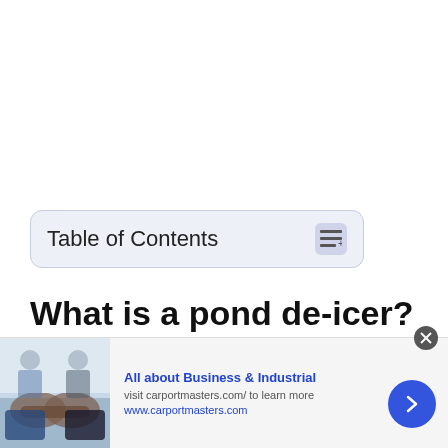Table of Contents
What is a pond de-icer?
A pond de-icer is basically a heater which
[Figure (other): Advertisement banner for carportmasters.com with handshake photo, titled 'All about Business & Industrial']